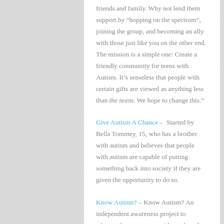friends and family. Why not lend them support by “hopping on the spectrum”, joining the group, and becoming an ally with those just like you on the other end.  The mission is a simple one: Create a friendly community for teens with Autism. It’s senseless that people with certain gifts are viewed as anything less than the norm. We hope to change this.”
Give Autism A Chance –  Started by Bella Tommey, 15, who has a brother with autism and believes that people with autism are capable of putting something back into society if they are given the opportunity to do so.
Know Autism? – Know Autism? An independent awareness project to educate the masses on evidence-based practices,